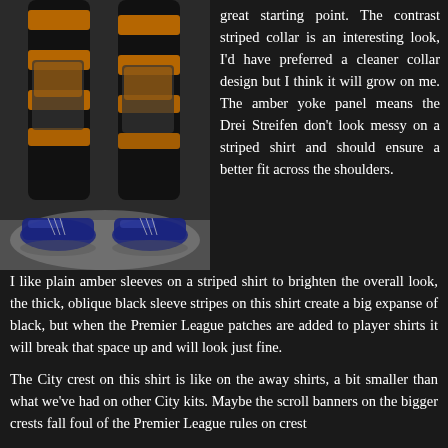[Figure (photo): Close-up photo of a footballer's legs from the knees down, wearing black and amber/orange striped socks with shin guards, and dark blue/black football cleats, standing on a light grey surface against a dark background.]
great starting point. The contrast striped collar is an interesting look, I'd have preferred a cleaner collar design but I think it will grow on me. The amber yoke panel means the Drei Streifen don't look messy on a striped shirt and should ensure a better fit across the shoulders.
I like plain amber sleeves on a striped shirt to brighten the overall look, the thick, oblique black sleeve stripes on this shirt create a big expanse of black, but when the Premier League patches are added to player shirts it will break that space up and will look just fine.
The City crest on this shirt is like on the away shirts, a bit smaller than what we've had on other City kits. Maybe the scroll banners on the bigger crests fall foul of the Premier League rules on crest